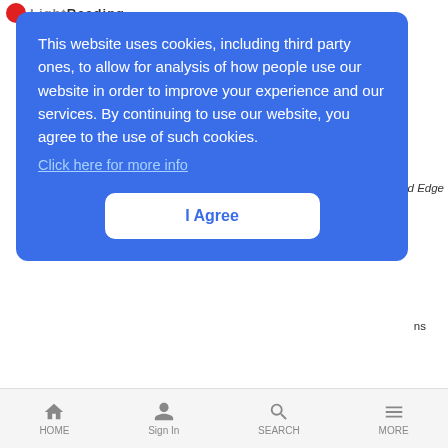LightReading
This website uses cookies, including third party ones, to allow for analysis of how people use our website in order to improve your experience and our services. By continuing to use our website, you agree to the use of such cookies.
Click here for more info
I Agree
Platform Report: 5G Analysis: Telco Cloud and Edge Trends 2021
5G Success Using the Adaptive Network Approach
Converged 4G/5G Transport Network Checklist
Converging and Automating 5G Networks
HOME  Sign In  SEARCH  MORE